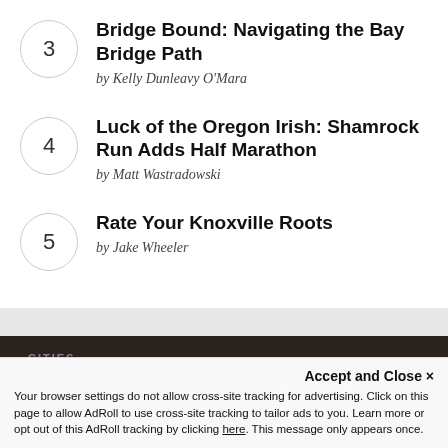3 Bridge Bound: Navigating the Bay Bridge Path by Kelly Dunleavy O'Mara
4 Luck of the Oregon Irish: Shamrock Run Adds Half Marathon by Matt Wastradowski
5 Rate Your Knoxville Roots by Jake Wheeler
CITIES Alamosa, CO / Albuquerque, NM / Anchorage, AK / Asha...
Accept and Close × Your browser settings do not allow cross-site tracking for advertising. Click on this page to allow AdRoll to use cross-site tracking to tailor ads to you. Learn more or opt out of this AdRoll tracking by clicking here. This message only appears once.